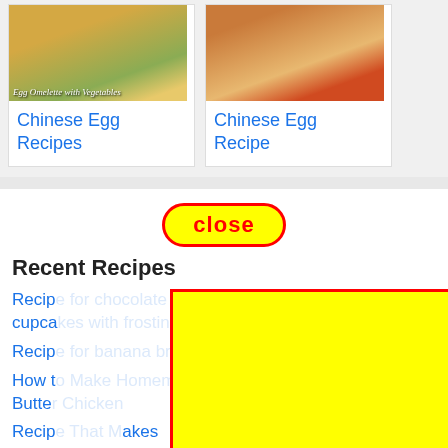[Figure (photo): Food photo of egg omelette with vegetables in a bowl on a dark wooden surface]
Egg Omelette with Vegetables
Chinese Egg Recipes
[Figure (photo): Food photo of Chinese egg dish with vegetables and sauce on a plate]
Chinese Egg Recipe
[Figure (other): Close button with red border and yellow background]
Recent Recipes
Recip... cupcake...
Recip...
How t... Butte...
Recip... akes
Easie...